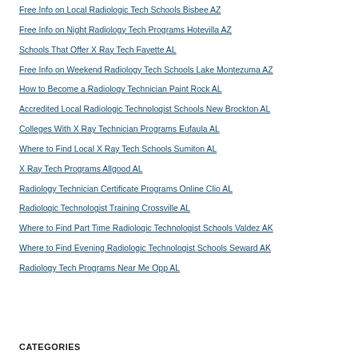Free Info on Local Radiologic Tech Schools Bisbee AZ
Free Info on Night Radiology Tech Programs Hotevilla AZ
Schools That Offer X Ray Tech Fayette AL
Free Info on Weekend Radiology Tech Schools Lake Montezuma AZ
How to Become a Radiology Technician Paint Rock AL
Accredited Local Radiologic Technologist Schools New Brockton AL
Colleges With X Ray Technician Programs Eufaula AL
Where to Find Local X Ray Tech Schools Sumiton AL
X Ray Tech Programs Allgood AL
Radiology Technician Certificate Programs Online Clio AL
Radiologic Technologist Training Crossville AL
Where to Find Part Time Radiologic Technologist Schools Valdez AK
Where to Find Evening Radiologic Technologist Schools Seward AK
Radiology Tech Programs Near Me Opp AL
CATEGORIES